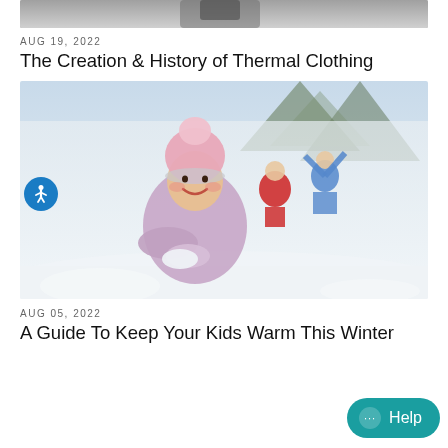[Figure (photo): Partial top image, cropped, showing dark clothing/figure from a previous article]
AUG 19, 2022
The Creation & History of Thermal Clothing
[Figure (photo): Child in pink winter hat and lavender puffy coat holding snow, with two people playing in snowy background, accessibility button overlay on left]
AUG 05, 2022
A Guide To Keep Your Kids Warm This Winter